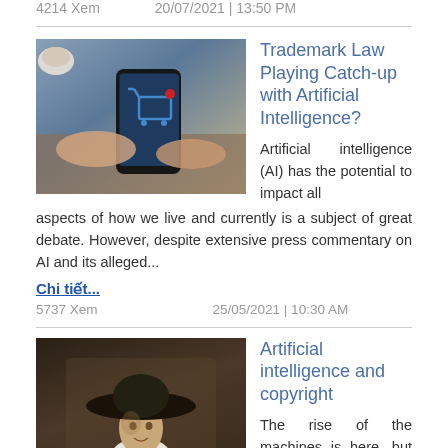4214 Xem    20/07/2021 | 13:50 PM
[Figure (photo): Hands holding a smartphone with an online shopping cart icon on the screen, coffee cup and laptop in background]
Trademark Law Playing Catch-up with Artificial Intelligence?
Artificial intelligence (AI) has the potential to impact all aspects of how we live and currently is a subject of great debate. However, despite extensive press commentary on AI and its alleged...
Chi tiết...
5737 Xem    25/05/2021 | 10:30 AM
[Figure (photo): Portrait painting of a person wearing a wide-brimmed black hat and white ruffled collar, in the style of a classical Dutch master painting]
Artificial intelligence and copyright
The rise of the machines is here, but they do not come